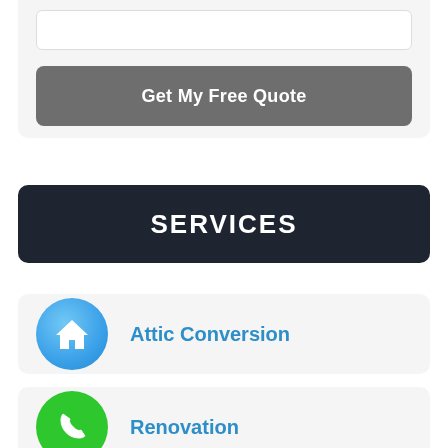[Figure (other): Input field (text box) at top of a form card]
Get My Free Quote
SERVICES
Attic Conversion
Renovation